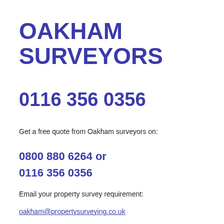OAKHAM SURVEYORS
0116 356 0356
Get a free quote from Oakham surveyors on:
0800 880 6264 or
0116 356 0356
Email your property survey requirement:
oakham@propertysurveying.co.uk